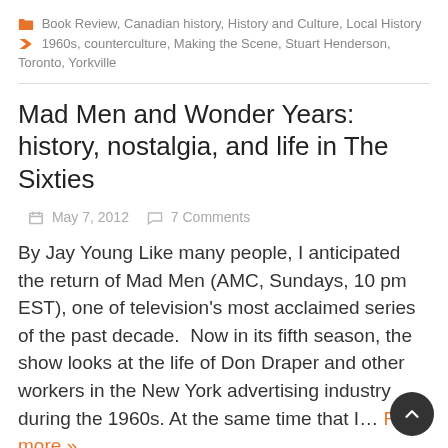Book Review, Canadian history, History and Culture, Local History  1960s, counterculture, Making the Scene, Stuart Henderson, Toronto, Yorkville
Mad Men and Wonder Years: history, nostalgia, and life in The Sixties
May 7, 2012   7 Comments
By Jay Young Like many people, I anticipated the return of Mad Men (AMC, Sundays, 10 pm EST), one of television's most acclaimed series of the past decade.  Now in its fifth season, the show looks at the life of Don Draper and other workers in the New York advertising industry during the 1960s. At the same time that I... Read more »